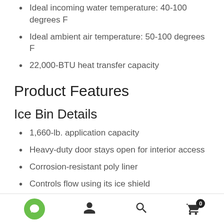Ideal incoming water temperature: 40-100 degrees F
Ideal ambient air temperature: 50-100 degrees F
22,000-BTU heat transfer capacity
Product Features
Ice Bin Details
1,660-lb. application capacity
Heavy-duty door stays open for interior access
Corrosion-resistant poly liner
Controls flow using its ice shield
First-in, first-out ice management
Navigation bar with chat, account, search, and cart icons